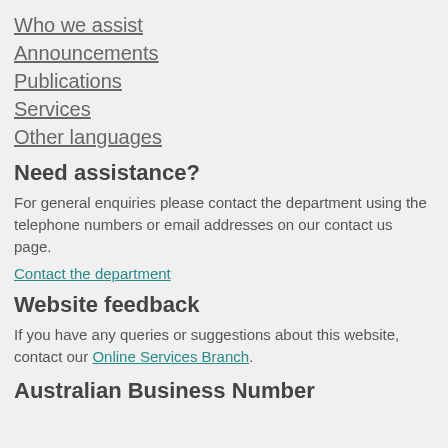Who we assist
Announcements
Publications
Services
Other languages
Need assistance?
For general enquiries please contact the department using the telephone numbers or email addresses on our contact us page.
Contact the department
Website feedback
If you have any queries or suggestions about this website, contact our Online Services Branch.
Australian Business Number